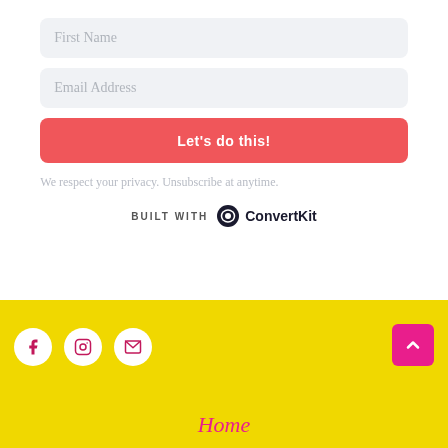First Name
Email Address
Let's do this!
We respect your privacy. Unsubscribe at anytime.
[Figure (logo): BUILT WITH ConvertKit logo with circular icon]
[Figure (infographic): Yellow footer section with Facebook, Instagram, and Email social icons in white circles, a pink scroll-to-top button, and 'Home' link in pink italic text]